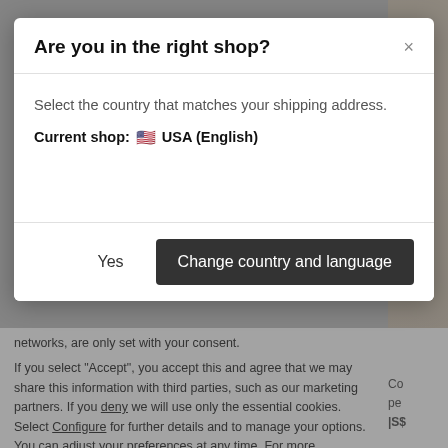Are you in the right shop?
Select the country that matches your shipping address.
Current shop: 🇺🇸 USA (English)
Yes
Change country and language
networks, are only set with your consent.
If you select "Accept", you accept this and agree that we may share this information with third parties, such as our marketing partners. If you deny we will use only the essential cookies. Select Configure for further details and to manage your options. You can adjust your preferences at any time. For more information, please read our privacy notice.
Configure
Accept